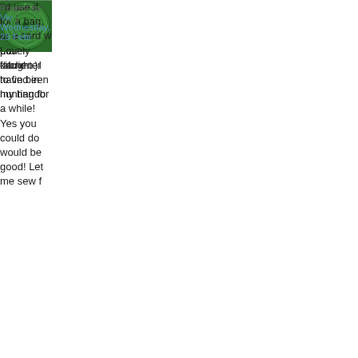[Figure (photo): Green spiral pattern avatar thumbnail]
I would make a zippered pou daughter to find in my handb
Posted by: Kim | Wednesday, 25 Feb
[Figure (photo): Blue geometric web pattern avatar thumbnail]
I would use the red one to ma kitchen. I have been hunting for a while! Yes you could do would be good! Let me sew f
Posted by: Margaret | Wednesday, 25
[Figure (photo): Green spiral pattern avatar thumbnail]
I'd use if for a bag, or a card w Lovely fabric :-)
Posted by: Viv | Wednesday, 25 Febr
[Figure (photo): Blue geometric web pattern avatar thumbnail]
What gorjuss prints, I desper for my son. when we are out huge nappy bag, so I reckon suggly hold 2 bot bots, with a
Posted by: Jaylene @ finki | Wednes